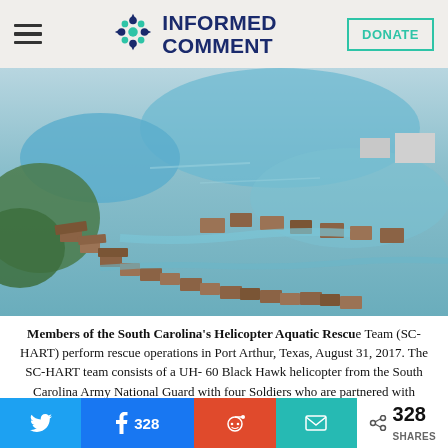INFORMED COMMENT — DONATE
[Figure (photo): Aerial view of flooded neighborhood in Port Arthur, Texas, showing houses and streets submerged in water after Hurricane Harvey, August 31, 2017.]
Members of the South Carolina's Helicopter Aquatic Rescue Team (SC-HART) perform rescue operations in Port Arthur, Texas, August 31, 2017. The SC-HART team consists of a UH-60 Black Hawk helicopter from the South Carolina Army National Guard with four Soldiers who are partnered with
328 SHARES — Twitter share, Facebook share (328), Reddit share, Email share